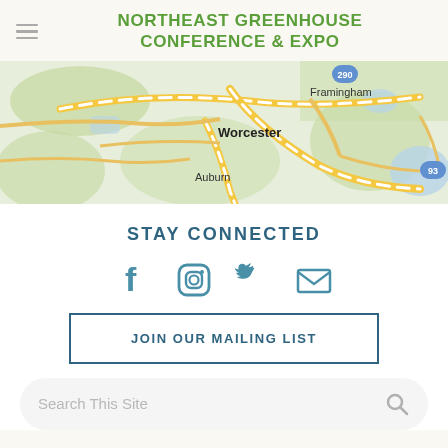NORTHEAST GREENHOUSE CONFERENCE & EXPO
[Figure (map): Road map showing Worcester, Auburn, Framingham area with highways 290 and 93]
STAY CONNECTED
[Figure (infographic): Social media icons: Facebook, Instagram, Twitter, Email]
JOIN OUR MAILING LIST
Search This Site